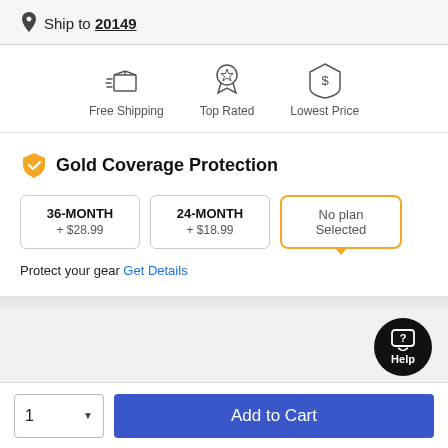Ship to 20149
[Figure (infographic): Three icons with labels: Free Shipping (box with motion lines), Top Rated (ribbon/medal with star), Lowest Price (shield with dollar sign)]
Gold Coverage Protection
36-MONTH + $28.99
24-MONTH + $18.99
No plan Selected
Protect your gear Get Details
1  Add to Cart